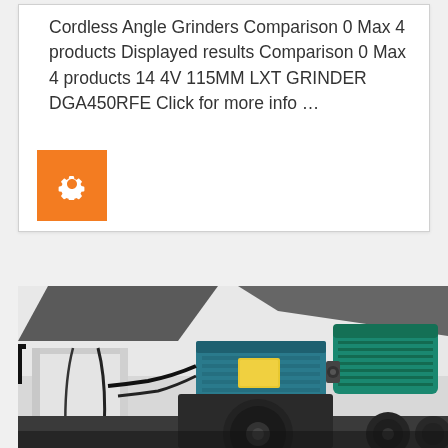Cordless Angle Grinders Comparison 0 Max 4 products Displayed results Comparison 0 Max 4 products 14 4V 115MM LXT GRINDER DGA450RFE Click for more info …
[Figure (photo): Industrial electric motor and fan/pump assembly mounted on a frame, with white ducting/pipes visible on the left side. The motor is teal/blue-green colored with a yellow label, mounted above a black metal base with circular bolt patterns.]